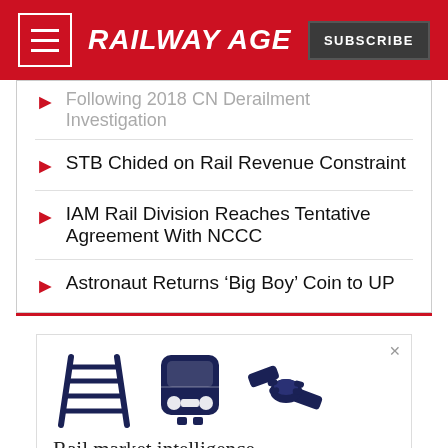RAILWAY AGE
Following 2018 CN Derailment Investigation
STB Chided on Rail Revenue Constraint
IAM Rail Division Reaches Tentative Agreement With NCCC
Astronaut Returns ‘Big Boy’ Coin to UP
[Figure (illustration): Advertisement with railway icons: train tracks, a commuter train front, and a handshake icon in dark navy blue]
Rail market intelligence